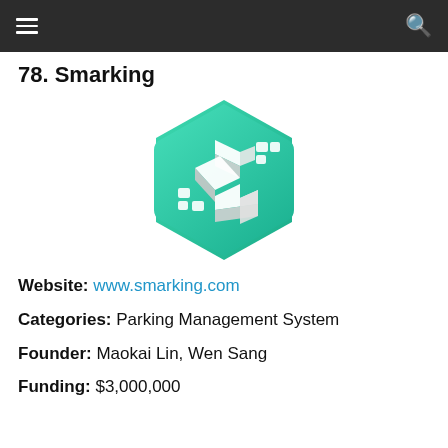navigation bar with hamburger menu and search icon
78. Smarking
[Figure (logo): Smarking logo: a green hexagonal badge with a stylized white 3D 'S' shape and pixel-like dots]
Website: www.smarking.com
Categories: Parking Management System
Founder: Maokai Lin, Wen Sang
Funding: $3,000,000